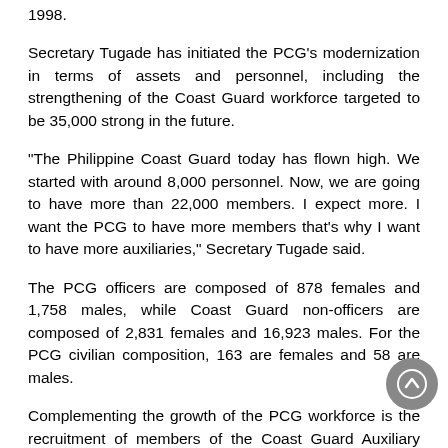1998.
Secretary Tugade has initiated the PCG's modernization in terms of assets and personnel, including the strengthening of the Coast Guard workforce targeted to be 35,000 strong in the future.
“The Philippine Coast Guard today has flown high. We started with around 8,000 personnel. Now, we are going to have more than 22,000 members. I expect more. I want the PCG to have more members that’s why I want to have more auxiliaries,” Secretary Tugade said.
The PCG officers are composed of 878 females and 1,758 males, while Coast Guard non-officers are composed of 2,831 females and 16,923 males. For the PCG civilian composition, 163 are females and 58 are males.
Complementing the growth of the PCG workforce is the recruitment of members of the Coast Guard Auxiliary which